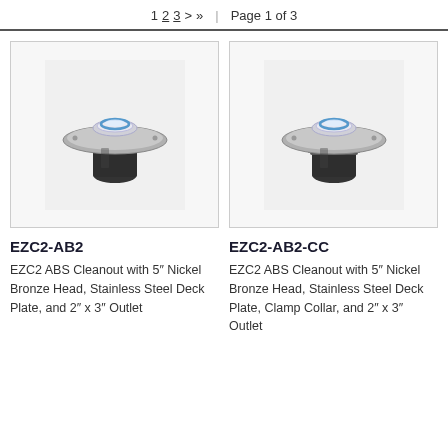1  2  3  >  >>  |  Page 1 of 3
[Figure (photo): EZC2-AB2 product photo: ABS cleanout drain with stainless steel deck plate and dark cylindrical body]
EZC2-AB2
EZC2 ABS Cleanout with 5″ Nickel Bronze Head, Stainless Steel Deck Plate, and 2″ x 3″ Outlet
[Figure (photo): EZC2-AB2-CC product photo: ABS cleanout drain with stainless steel deck plate, clamp collar, and dark cylindrical body]
EZC2-AB2-CC
EZC2 ABS Cleanout with 5″ Nickel Bronze Head, Stainless Steel Deck Plate, Clamp Collar, and 2″ x 3″ Outlet